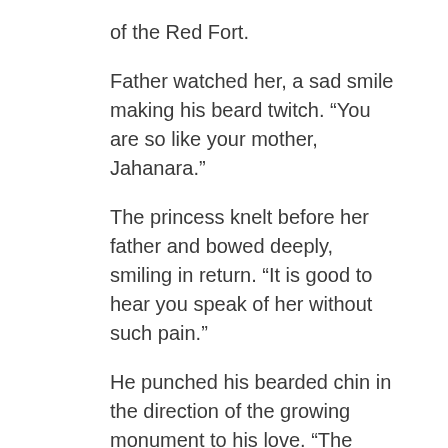of the Red Fort.
Father watched her, a sad smile making his beard twitch. “You are so like your mother, Jahanara.”
The princess knelt before her father and bowed deeply, smiling in return. “It is good to hear you speak of her without such pain.”
He punched his bearded chin in the direction of the growing monument to his love. “The heart heals as her monument rises, daughter. Even so, I will never be whole again until we are together in Paradise.”
She bowed her head again, suddenly uncertain.
He sighed, the sound bearing more of quiet contentment than pain. He took her hand